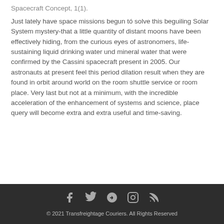Spacecraft Concept, 1(1).
Just lately have space missions begun tó solve this beguiling Solar System mystery-that a little quantity of distant moons have been effectively hiding, from the curious eyes of astronomers, life-sustaining liquid drinking water und mineral water that were confirmed by the Cassini spacecraft present in 2005. Our astronauts at present feel this period dilation result when they are found in orbit around world on the room shuttle service or room place. Very last but not at a minimum, with the incredible acceleration of the enhancement of systems and science, place query will become extra and extra useful and time-saving.
© 2021 Transfreightage Couriers. All Rights Reserved